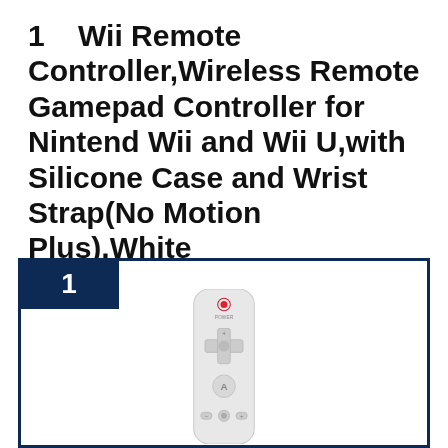1   Wii Remote Controller,Wireless Remote Gamepad Controller for Nintend Wii and Wii U,with Silicone Case and Wrist Strap(No Motion Plus),White
[Figure (photo): A white Wii Remote controller shown vertically, with D-pad, A button, minus/home/plus buttons visible, inside a dark navy blue bordered box with a dark navy badge showing the number 1]